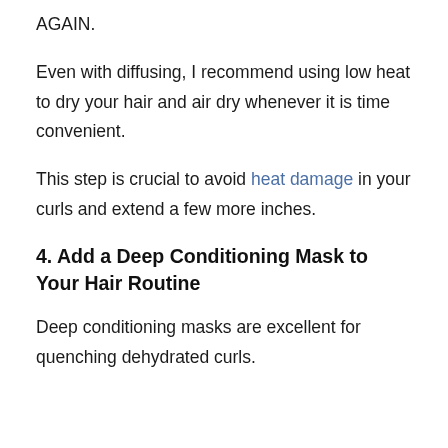AGAIN.
Even with diffusing, I recommend using low heat to dry your hair and air dry whenever it is time convenient.
This step is crucial to avoid heat damage in your curls and extend a few more inches.
4. Add a Deep Conditioning Mask to Your Hair Routine
Deep conditioning masks are excellent for quenching dehydrated curls.